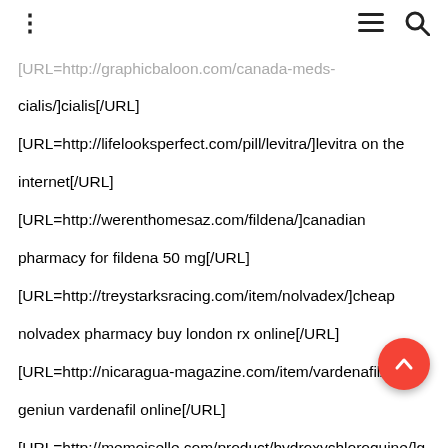⋮  ≡  🔍
[URL=http://graphicbaloon.com/canada-meds-cialis/]cialis[/URL] [URL=http://lifelooksperfect.com/pill/levitra/]levitra on the internet[/URL] [URL=http://werenthomesaz.com/fildena/]canadian pharmacy for fildena 50 mg[/URL] [URL=http://treystarksracing.com/item/nolvadex/]cheap nolvadex pharmacy buy london rx online[/URL] [URL=http://nicaragua-magazine.com/item/vardenafil/]buy geniun vardenafil online[/URL] [URL=http://memoiselle.com/product/hydroxychloroquine/]ge hydroxychloroquine fr om india buying[/URL] [URL=http://fontanellabenevento.com/buy-lasix-without-prescription/]lasix price[/URL] [URL=http://dreamteamkyani.com/lasix/]lasix pills phramacy[/URL] [URL=http://vajled.com/viagra-generic/]viagra generic[/URL]